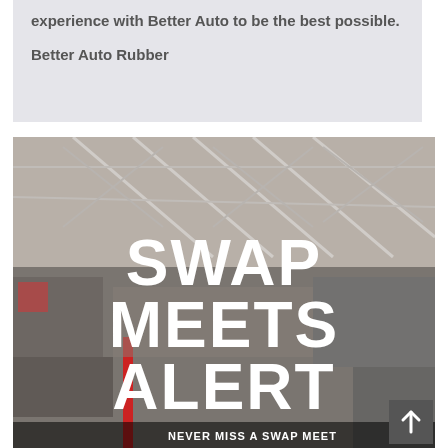experience with Better Auto to be the best possible.
Better Auto Rubber
[Figure (photo): Interior of a swap meet / market warehouse with metal roof trusses, vendor stalls and merchandise visible. Large white bold text overlaid reads SWAP MEETS ALERT with a bottom banner reading NEVER MISS A SWAP MEET.]